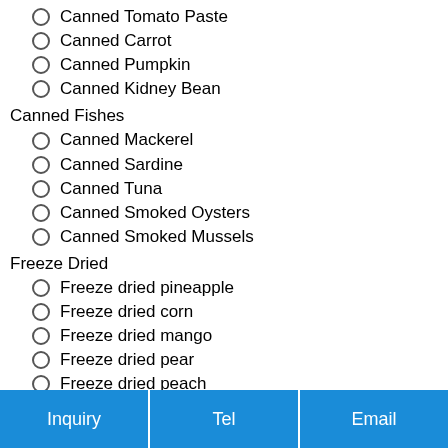Canned Tomato Paste
Canned Carrot
Canned Pumpkin
Canned Kidney Bean
Canned Fishes
Canned Mackerel
Canned Sardine
Canned Tuna
Canned Smoked Oysters
Canned Smoked Mussels
Freeze Dried
Freeze dried pineapple
Freeze dried corn
Freeze dried mango
Freeze dried pear
Freeze dried peach
Inquiry | Tel | Email